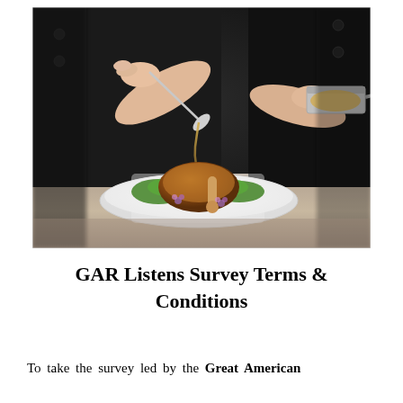[Figure (photo): A chef in a dark jacket pouring sauce from a spoon onto a plated dish of roasted chicken garnished with green lettuce and purple flowers on a white square plate, on a stone surface]
GAR Listens Survey Terms & Conditions
To take the survey led by the Great American